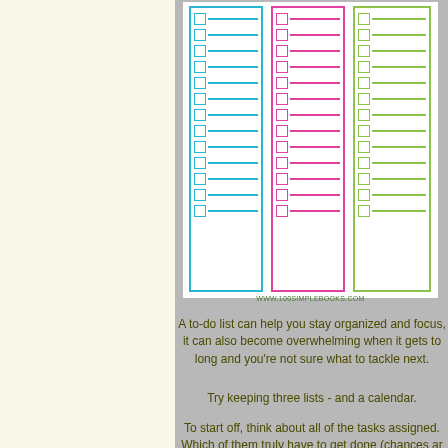[Figure (illustration): Three colorful checklist notepads side by side - blue, pink, and green - each with checkbox items and lines, on a light gray background. A website URL www.100simplebooks.com appears below.]
A to-do list can help you stay organized and focus, it can also become overwhelming when it gets to long and you're not sure what to tackle next.
Try keeping three lists - and a calendar.
To start off, think about all of the tasks assigned. Which of them truly have to get done (chances ar